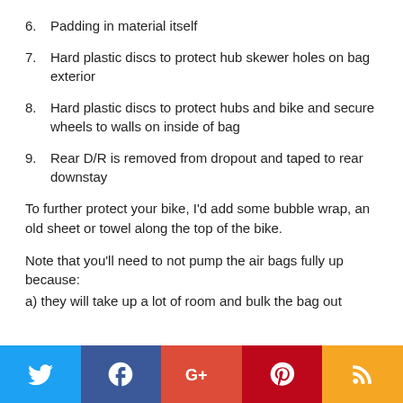6. Padding in material itself
7. Hard plastic discs to protect hub skewer holes on bag exterior
8. Hard plastic discs to protect hubs and bike and secure wheels to walls on inside of bag
9. Rear D/R is removed from dropout and taped to rear downstay
To further protect your bike, I'd add some bubble wrap, an old sheet or towel along the top of the bike.
Note that you'll need to not pump the air bags fully up because:
a) they will take up a lot of room and bulk the bag out